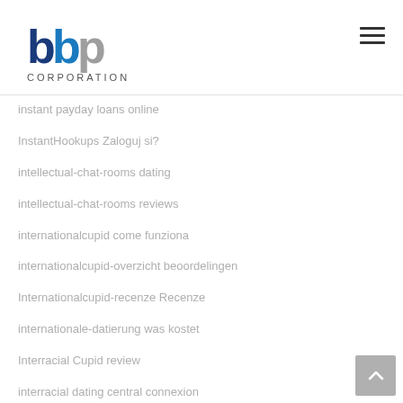bbp CORPORATION
instant payday loans online
InstantHookups Zaloguj si?
intellectual-chat-rooms dating
intellectual-chat-rooms reviews
internationalcupid come funziona
internationalcupid-overzicht beoordelingen
Internationalcupid-recenze Recenze
internationale-datierung was kostet
Interracial Cupid review
interracial dating central connexion